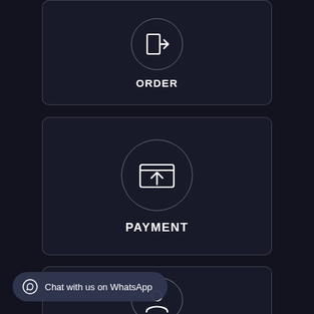[Figure (infographic): Card with login/order icon (arrow into box) in a circle and label ORDER]
[Figure (infographic): Card with upload/payment icon (arrow up from screen) in a circle and label PAYMENT]
[Figure (infographic): Card partially visible with person/profile icon in a circle, third step]
Chat with us on WhatsApp